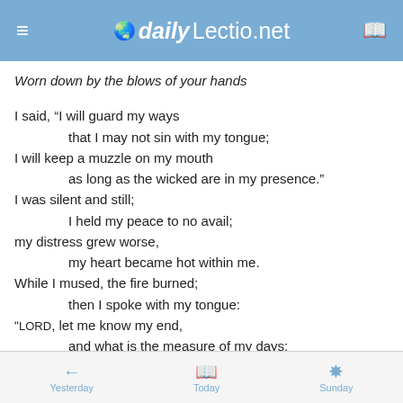dailyLectio.net
Worn down by the blows of your hands
I said, “I will guard my ways
    that I may not sin with my tongue;
I will keep a muzzle on my mouth
    as long as the wicked are in my presence."
I was silent and still;
    I held my peace to no avail;
my distress grew worse,
    my heart became hot within me.
While I mused, the fire burned;
    then I spoke with my tongue:
“Lord, let me know my end,
    and what is the measure of my days;
Yesterday    Today    Sunday